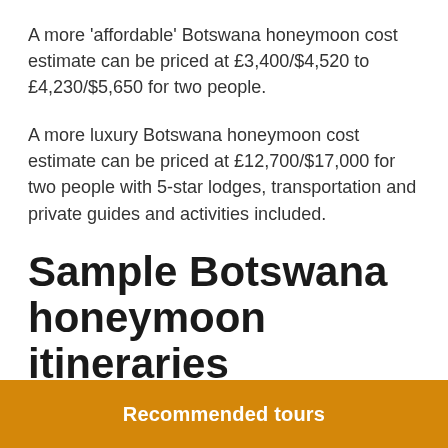A more 'affordable' Botswana honeymoon cost estimate can be priced at £3,400/$4,520 to £4,230/$5,650 for two people.
A more luxury Botswana honeymoon cost estimate can be priced at £12,700/$17,000 for two people with 5-star lodges, transportation and private guides and activities included.
Sample Botswana honeymoon itineraries
Most of the best Botswana honeymoons include some…
Recommended tours